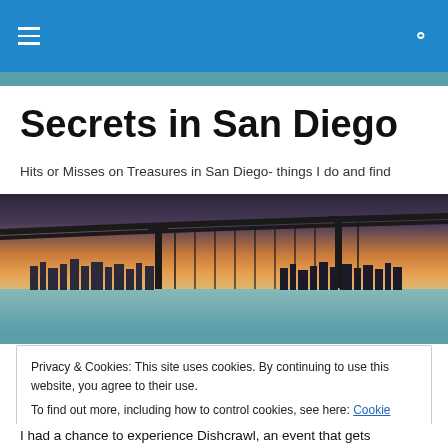≡  🔍
Secrets in San Diego
Hits or Misses on Treasures in San Diego- things I do and find
[Figure (photo): Panoramic photo of the Coronado Bridge in San Diego at sunset, with city skyline visible in the background under warm orange and purple sky tones.]
Privacy & Cookies: This site uses cookies. By continuing to use this website, you agree to their use.
To find out more, including how to control cookies, see here: Cookie Policy
[Close and accept]
I had a chance to experience Dishcrawl, an event that gets